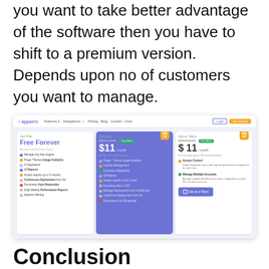you want to take better advantage of the software then you have to shift to a premium version. Depends upon no of customers you want to manage.
[Figure (screenshot): Screenshot of Appsero pricing page showing three pricing tiers: Free Forever, $11/month (Starting at $20/month), and Add-on Teams $11/month. The page has a purple/blue color scheme with feature lists for each tier.]
Conclusion